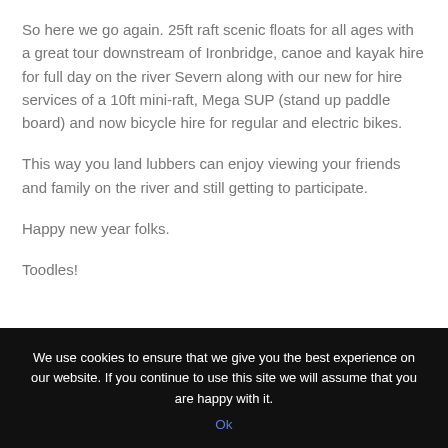So here we go again. 25ft raft scenic floats for all ages with a great tour downstream of Ironbridge, canoe and kayak hire for full day on the river Severn along with our new for hire services of a 10ft mini-raft, Mega SUP (stand up paddle board) and now bicycle hire for regular and electric bikes.
This way you land lubbers can enjoy viewing your friends and family on the river and still getting to participate.
Happy new year folks.
Toodles!
We use cookies to ensure that we give you the best experience on our website. If you continue to use this site we will assume that you are happy with it. Ok